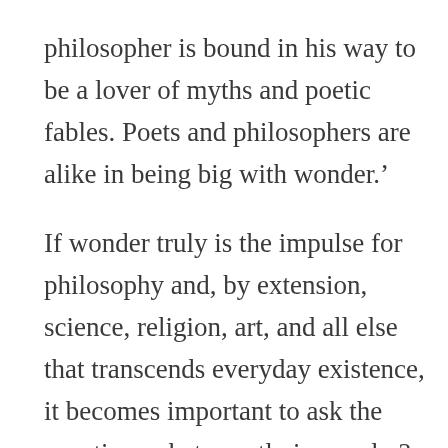philosopher is bound in his way to be a lover of myths and poetic fables. Poets and philosophers are alike in being big with wonder.'
If wonder truly is the impulse for philosophy and, by extension, science, religion, art, and all else that transcends everyday existence, it becomes important to ask the question, what exactly is wonder?
Wonder is a complex emotion involving elements of surprise, curiosity, contemplation, and joy, and is perhaps best defined as a